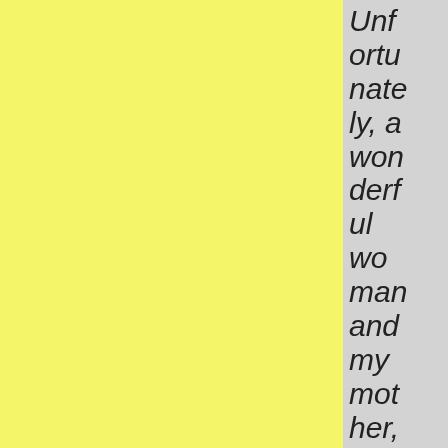Unfortunately, a wonderful woman and my mother, Estefania Villaluz, passed away five